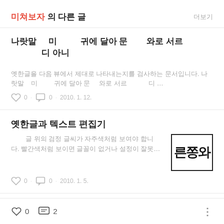미쳐보자 의 다른 글
더보기
나랏말 미 귀에 달아 문 와로 서르 디 아니
옛한글을 다음 뷰에서 제대로 나타내는지를 검사하는 문서입니다. 나랏말 미 귀에 달아 문 와로 서르 디 …
♡ 0 · 🗨 0 · 2010. 1. 12.
옛한글과 텍스트 편집기
글 위의 검정 글씨가 자주색처럼 보여야 합니다. 빨간색처럼 보이면 글꼴이 없거나 설정이 잘못…
♡ 0 · 🗨 0 · 2010. 1. 5.
♡ 0  🗨 2  ⋮